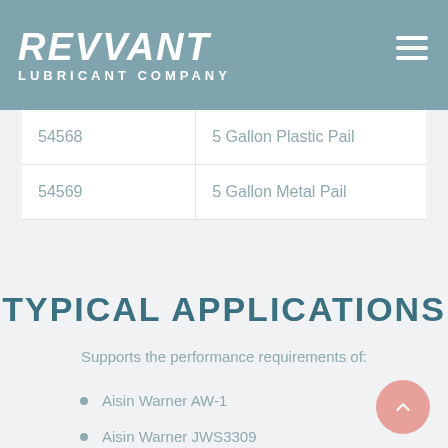REVVANT LUBRICANT COMPANY
| Code | Description |
| --- | --- |
| 54568 | 5 Gallon Plastic Pail |
| 54569 | 5 Gallon Metal Pail |
TYPICAL APPLICATIONS
Supports the performance requirements of:
Aisin Warner AW-1
Aisin Warner JWS3309